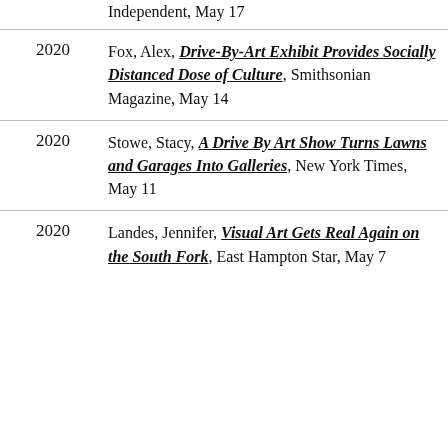Independent, May 17
2020 — Fox, Alex, Drive-By-Art Exhibit Provides Socially Distanced Dose of Culture, Smithsonian Magazine, May 14
2020 — Stowe, Stacy, A Drive By Art Show Turns Lawns and Garages Into Galleries, New York Times, May 11
2020 — Landes, Jennifer, Visual Art Gets Real Again on the South Fork, East Hampton Star, May 7